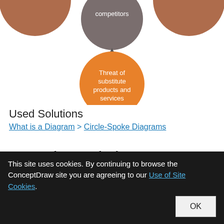[Figure (other): Partial Porter's Five Forces diagram showing circles: brown circles at top-left and top-right (partially visible), gray circle at top-center labeled 'competitors', orange circle at bottom-center labeled 'Threat of substitute products and services', with an upward arrow from the orange circle to the gray circle.]
Used Solutions
What is a Diagram > Circle-Spoke Diagrams
Competitor Analysis
This site uses cookies. By continuing to browse the ConceptDraw site you are agreeing to our Use of Site Cookies.